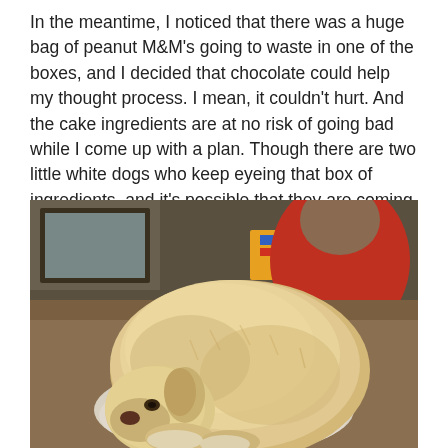In the meantime, I noticed that there was a huge bag of peanut M&M's going to waste in one of the boxes, and I decided that chocolate could help my thought process. I mean, it couldn't hurt. And the cake ingredients are at no risk of going bad while I come up with a plan. Though there are two little white dogs who keep eyeing that box of ingredients, and it's possible that they are coming up with their own schemes for how to bring this cake to life.
[Figure (photo): A fluffy light-colored (cream/white) small dog curled up and resting, with eyes partially open, lying on what appears to be white fabric/blanket. In the background there is a person wearing a red shirt and some furniture/objects visible.]